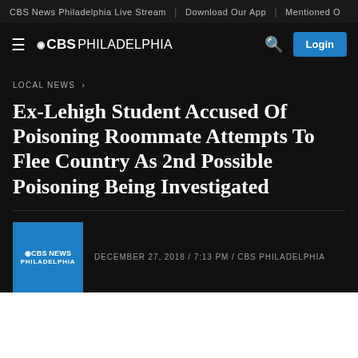CBS News Philadelphia Live Stream | Download Our App | Mentioned O
CBS PHILADELPHIA
LOCAL NEWS ›
Ex-Lehigh Student Accused Of Poisoning Roommate Attempts To Flee Country As 2nd Possible Poisoning Being Investigated
DECEMBER 27, 2018 / 7:13 PM / CBS PHILADELPHIA